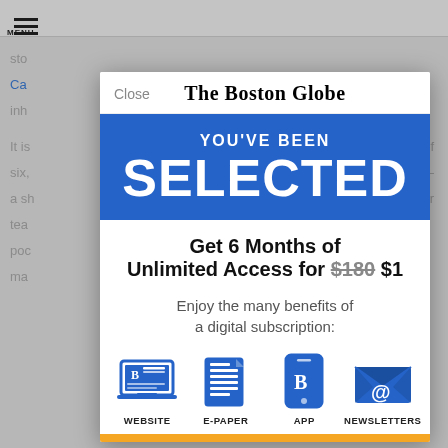[Figure (screenshot): Screenshot of The Boston Globe website showing a subscription promotional modal overlay on top of a news article. The modal shows 'YOU'VE BEEN SELECTED' in a blue banner, with an offer for 6 months of unlimited access for $1 (regularly $180), and icons for WEBSITE, E-PAPER, APP, and NEWSLETTERS.]
The Boston Globe
YOU'VE BEEN
SELECTED
Get 6 Months of Unlimited Access for $180 $1
Enjoy the many benefits of a digital subscription:
WEBSITE
E-PAPER
APP
NEWSLETTERS